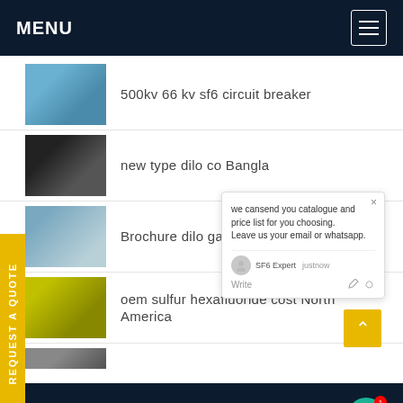MENU
500kv 66 kv sf6 circuit breaker
new type dilo co Bangla
Brochure dilo gas Bangl
oem sulfur hexafluoride cost North America
750kv areva circuit breaker sf6 Australia
we cansend you catalogue and price list for you choosing.
Leave us your email or whatsapp.
SF6 Expert   justnow
Write
REQUEST A QUOTE